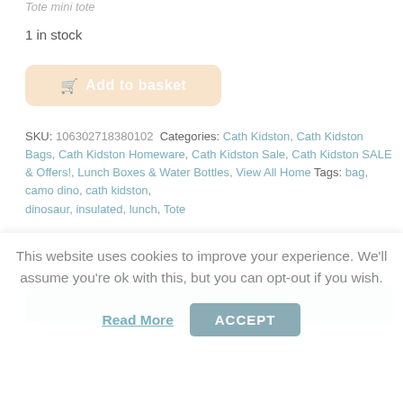Tote mini tote
1 in stock
[Figure (other): Add to basket button with shopping cart icon, peach/beige color with rounded corners]
SKU: 106302718380102 Categories: Cath Kidston, Cath Kidston Bags, Cath Kidston Homeware, Cath Kidston Sale, Cath Kidston SALE & Offers!, Lunch Boxes & Water Bottles, View All Home Tags: bag, camo dino, cath kidston, dinosaur, insulated, lunch, Tote
[Figure (other): Rounded tab/bar element in grey-blue color with dashed white border]
This website uses cookies to improve your experience. We'll assume you're ok with this, but you can opt-out if you wish.
Read More
ACCEPT